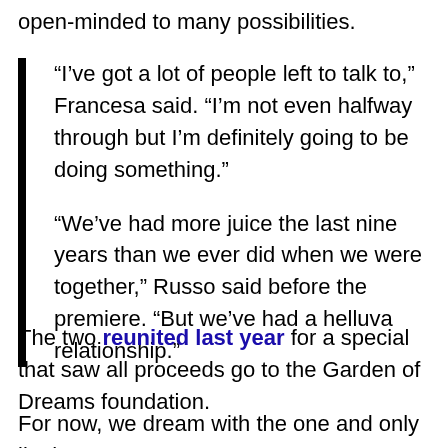open-minded to many possibilities.
“I’ve got a lot of people left to talk to,” Francesa said. “I’m not even halfway through but I’m definitely going to be doing something.”
“We’ve had more juice the last nine years than we ever did when we were together,” Russo said before the premiere. “But we’ve had a helluva relationship.”
The two reunited last year for a special that saw all proceeds go to the Garden of Dreams foundation.
For now, we dream with the one and only jingle